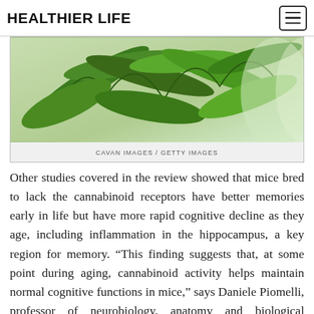HEALTHIER LIFE
[Figure (photo): Close-up photograph of cannabis/hemp plant leaves, green foliage against a light background. Credit: CAVAN IMAGES / GETTY IMAGES]
CAVAN IMAGES / GETTY IMAGES
Other studies covered in the review showed that mice bred to lack the cannabinoid receptors have better memories early in life but have more rapid cognitive decline as they age, including inflammation in the hippocampus, a key region for memory. “This finding suggests that, at some point during aging, cannabinoid activity helps maintain normal cognitive functions in mice,” says Daniele Piomelli, professor of neurobiology, anatomy and biological chemistry at the University of California – Irvine, who was not associated with the study.